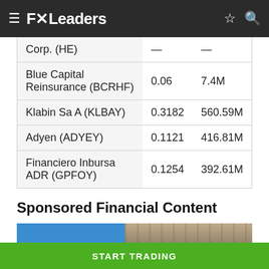FXLeaders
| Company | Value1 | Value2 |
| --- | --- | --- |
| Corp. (HE) | — | — |
| Blue Capital Reinsurance (BCRHF) | 0.06 | 7.4M |
| Klabin Sa A (KLBAY) | 0.3182 | 560.59M |
| Adyen (ADYEY) | 0.1121 | 416.81M |
| Financiero Inbursa ADR (GPFOY) | 0.1254 | 392.61M |
Sponsored Financial Content
[Figure (photo): Sponsored financial content image showing a building facade with blue and beige tones]
START TRADING